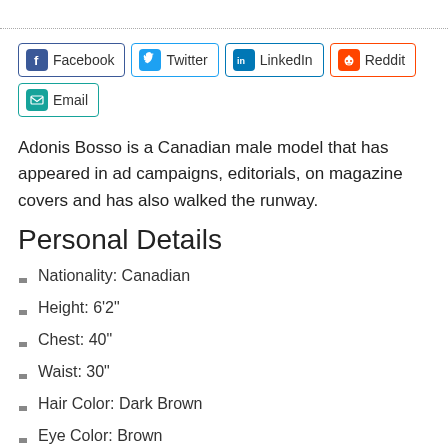[Figure (other): Social share buttons: Facebook, Twitter, LinkedIn, Reddit, Email]
Adonis Bosso is a Canadian male model that has appeared in ad campaigns, editorials, on magazine covers and has also walked the runway.
Personal Details
Nationality: Canadian
Height: 6'2"
Chest: 40"
Waist: 30"
Hair Color: Dark Brown
Eye Color: Brown